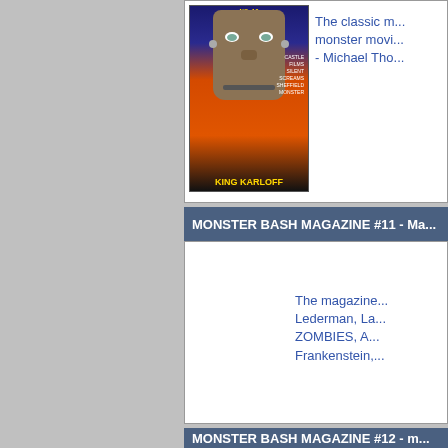[Figure (photo): Monster Bash Magazine cover showing Frankenstein's monster face, titled 'Monster Bash' with 'King Karloff' text at bottom]
The classic m... monster movi... - Michael Tho...
MONSTER BASH MAGAZINE #11 - Ma...
The magazine... Lederman, La... ZOMBIES, A... Frankenstein,...
MONSTER BASH MAGAZINE #12 - m...